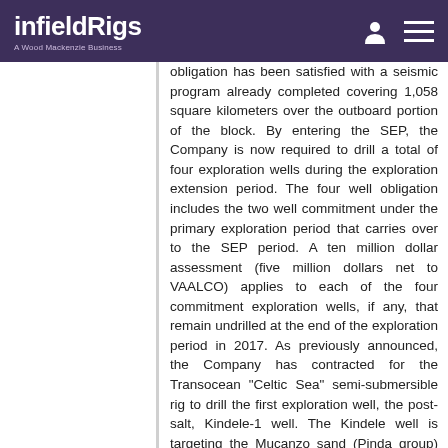infieldRigs — A Wood Mackenzie Business
obligation has been satisfied with a seismic program already completed covering 1,058 square kilometers over the outboard portion of the block. By entering the SEP, the Company is now required to drill a total of four exploration wells during the exploration extension period. The four well obligation includes the two well commitment under the primary exploration period that carries over to the SEP period. A ten million dollar assessment (five million dollars net to VAALCO) applies to each of the four commitment exploration wells, if any, that remain undrilled at the end of the exploration period in 2017. As previously announced, the Company has contracted for the Transocean "Celtic Sea" semi-submersible rig to drill the first exploration well, the post-salt, Kindele-1 well. The Kindele well is targeting the Mucanzo sand (Pinda group) with a planned total depth of 2,250 meters in a water depth of 101 meters. Gross unrisked recoverable resources are estimated to be between 20-49